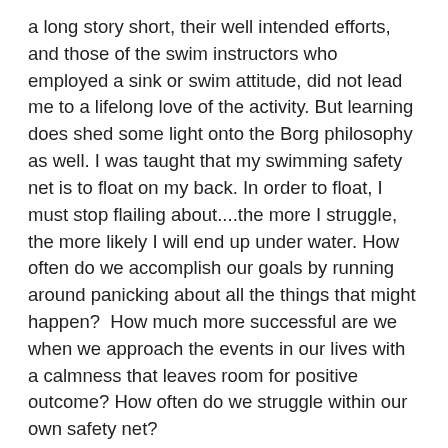a long story short, their well intended efforts, and those of the swim instructors who employed a sink or swim attitude, did not lead me to a lifelong love of the activity. But learning does shed some light onto the Borg philosophy as well. I was taught that my swimming safety net is to float on my back. In order to float, I must stop flailing about....the more I struggle, the more likely I will end up under water. How often do we accomplish our goals by running around panicking about all the things that might happen?  How much more successful are we when we approach the events in our lives with a calmness that leaves room for positive outcome? How often do we struggle within our own safety net?
The difference between my use of the Borg statement and theirs is that I believe that resistance is futile not because I believe we should give up, but